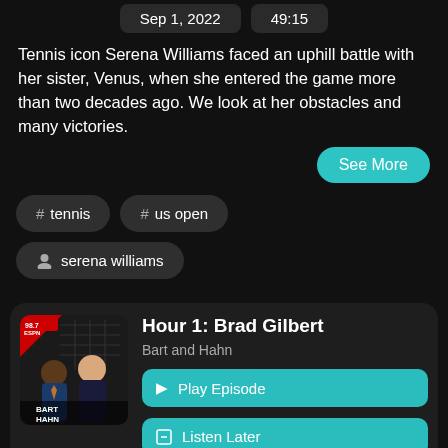Sep 1, 2022   49:15
Tennis icon Serena Williams faced an uphill battle with her sister, Venus, when she entered the game more than two decades ago. We look at her obstacles and many victories.
See More
# tennis
# us open
serena williams
[Figure (screenshot): Bart and Hahn ESPN podcast show thumbnail with two men in suits]
Hour 1: Brad Gilbert
Bart and Hahn
Play Episode
Listen Later